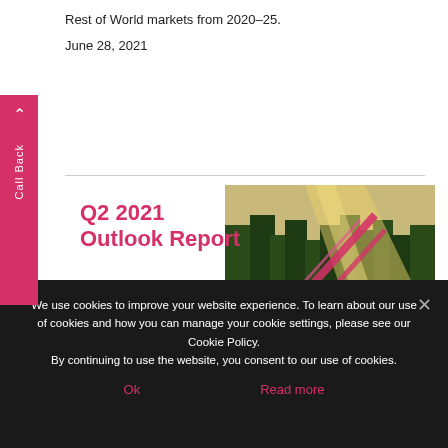Rest of World markets from 2020–25.
June 28, 2021
[Figure (screenshot): Q2 2021 Outlook Report cover image showing a forest with sunlight and pink diagonal graphic elements. Title text reads 'Q2 2021 Outlook Report' in bold pink/red color.]
We use cookies to improve your website experience. To learn about our use of cookies and how you can manage your cookie settings, please see our Cookie Policy.
By continuing to use the website, you consent to our use of cookies.
Ok
Read more